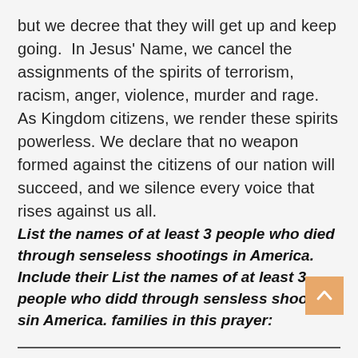but we decree that they will get up and keep going.  In Jesus' Name, we cancel the assignments of the spirits of terrorism, racism, anger, violence, murder and rage.  As Kingdom citizens, we render these spirits powerless. We declare that no weapon formed against the citizens of our nation will succeed, and we silence every voice that rises against us all.
List the names of at least 3 people who died through senseless shootings in America. Include their List the names of at least 3 people who didd through sensless shooting sin America. families in this prayer: